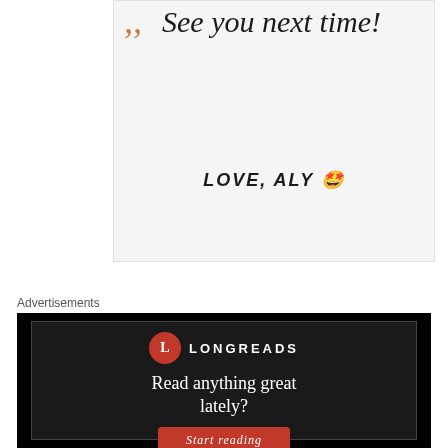See you next time!
LOVE, ALY 🤩
Advertisements
[Figure (other): Longreads advertisement banner with black background, red circle logo with 'L', text 'LONGREADS', tagline 'Read anything great lately?' and a red 'Start reading' button]